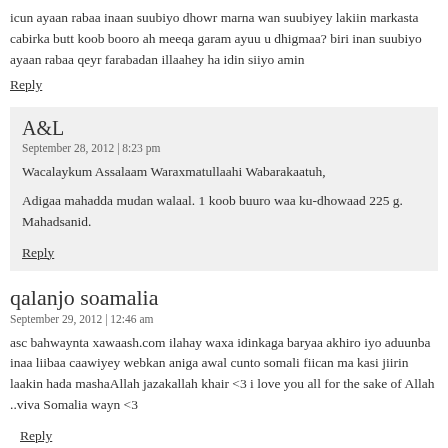icun ayaan rabaa inaan suubiyo dhowr marna wan suubiyey lakiin markasta cabirka butt koob booro ah meeqa garam ayuu u dhigmaa? biri inan suubiyo ayaan rabaa qeyr farabadan illaahey ha idin siiyo amin
Reply
A&L
September 28, 2012 | 8:23 pm
Wacalaykum Assalaam Waraxmatullaahi Wabarakaatuh,
Adigaa mahadda mudan walaal. 1 koob buuro waa ku-dhowaad 225 g. Mahadsanid.
Reply
qalanjo soamalia
September 29, 2012 | 12:46 am
asc bahwaynta xawaash.com ilahay waxa idinkaga baryaa akhiro iyo aduunba inaa liibaa caawiyey webkan aniga awal cunto somali fiican ma kasi jiirin laakin hada mashaAllah jazakallah khair <3 i love you all for the sake of Allah ..viva Somalia wayn <3
Reply
A&L
September 29, 2012 | 10:49 pm